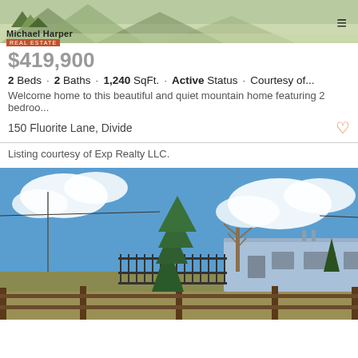[Figure (photo): Michael Harper Real Estate logo with mountain peaks above the company name on a green/landscape background. Hamburger menu icon top right.]
$419,900
2 Beds · 2 Baths · 1,240 SqFt. · Active Status · Courtesy of...
Welcome home to this beautiful and quiet mountain home featuring 2 bedroo...
150 Fluorite Lane, Divide
Listing courtesy of Exp Realty LLC.
[Figure (photo): Exterior photo of a light blue single-story ranch house with a dark metal fence in the foreground, evergreen and bare deciduous trees, under a partly cloudy blue sky.]